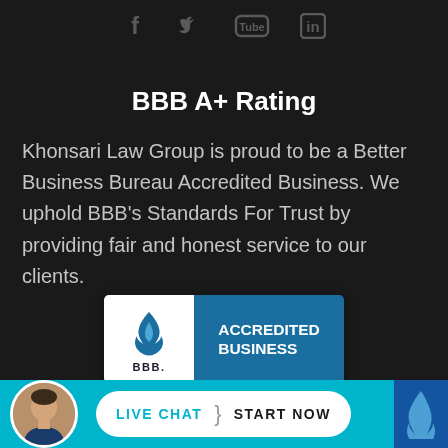[Figure (other): Social media icons bar: Facebook, Twitter, YouTube, LinkedIn icons in gray on dark background]
BBB A+ Rating
Khonsari Law Group is proud to be a Better Business Bureau Accredited Business. We uphold BBB's Standards For Trust by providing fair and honest service to our clients.
[Figure (logo): BBB Accredited Business badge with white and blue sections, BBB flame logo on white left panel, 'ACCREDITED BUSINESS' text on blue right panel, 'BBB Rating: A+' below]
BBB Rating: A+
[Figure (other): Live chat bar at bottom with attorney photo avatar, white pill-shaped button reading 'LIVE CHAT | START NOW' on teal background]